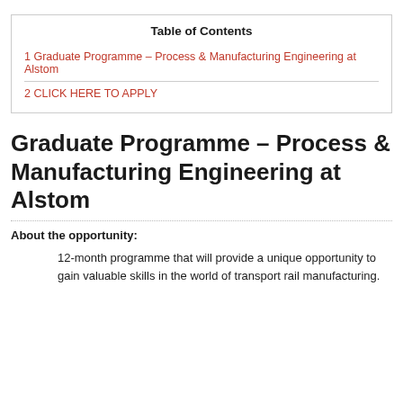| Table of Contents |
| --- |
| 1 Graduate Programme – Process & Manufacturing Engineering at Alstom |
| 2 CLICK HERE TO APPLY |
Graduate Programme – Process & Manufacturing Engineering at Alstom
About the opportunity:
12-month programme that will provide a unique opportunity to gain valuable skills in the world of transport rail manufacturing.